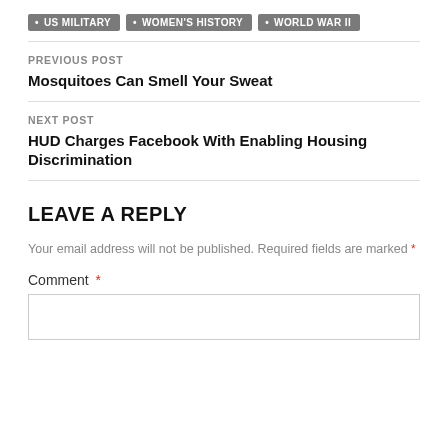US MILITARY
WOMEN'S HISTORY
WORLD WAR II
PREVIOUS POST
Mosquitoes Can Smell Your Sweat
NEXT POST
HUD Charges Facebook With Enabling Housing Discrimination
LEAVE A REPLY
Your email address will not be published. Required fields are marked *
Comment *